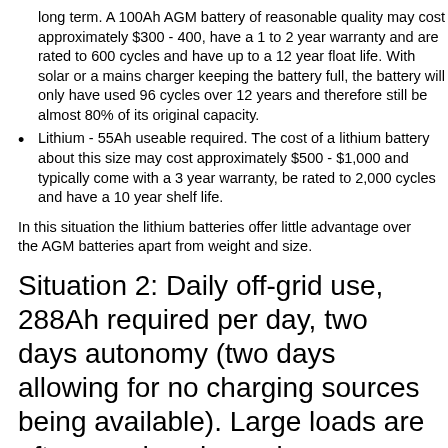long term. A 100Ah AGM battery of reasonable quality may cost approximately $300 - 400, have a 1 to 2 year warranty and are rated to 600 cycles and have up to a 12 year float life. With solar or a mains charger keeping the battery full, the battery will only have used 96 cycles over 12 years and therefore still be almost 80% of its original capacity.
Lithium - 55Ah useable required. The cost of a lithium battery about this size may cost approximately $500 - $1,000 and typically come with a 3 year warranty, be rated to 2,000 cycles and have a 10 year shelf life.
In this situation the lithium batteries offer little advantage over the AGM batteries apart from weight and size.
Situation 2: Daily off-grid use, 288Ah required per day, two days autonomy (two days allowing for no charging sources being available). Large loads are often used such as air conditioning and no 12V is required so 48V is beneficial.